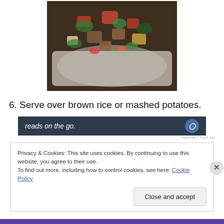[Figure (photo): Food dish with mixed vegetables and meat pieces in a white baking dish, viewed from above.]
6. Serve over brown rice or mashed potatoes.
[Figure (other): Advertisement banner with dark navy background showing text 'reads on the go.' with a circular icon on the right.]
Privacy & Cookies: This site uses cookies. By continuing to use this website, you agree to their use.
To find out more, including how to control cookies, see here: Cookie Policy
Close and accept